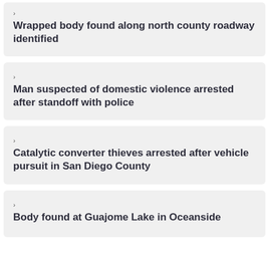Wrapped body found along north county roadway identified
Man suspected of domestic violence arrested after standoff with police
Catalytic converter thieves arrested after vehicle pursuit in San Diego County
Body found at Guajome Lake in Oceanside